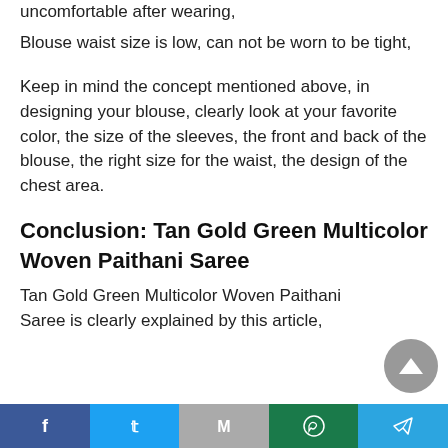uncomfortable after wearing,
Blouse waist size is low, can not be worn to be tight,
Keep in mind the concept mentioned above, in designing your blouse, clearly look at your favorite color, the size of the sleeves, the front and back of the blouse, the right size for the waist, the design of the chest area.
Conclusion: Tan Gold Green Multicolor Woven Paithani Saree
Tan Gold Green Multicolor Woven Paithani Saree is clearly explained by this article,
Facebook | Twitter | Gmail | WhatsApp | Telegram